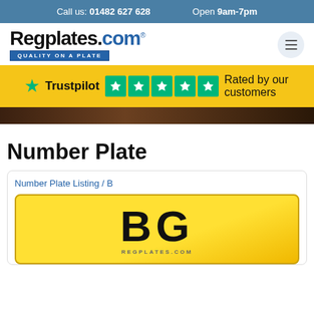Call us: 01482 627 628    Open 9am-7pm
[Figure (logo): Regplates.com logo with tagline 'Quality on a Plate']
[Figure (infographic): Trustpilot 5-star rating banner: Rated by our customers]
[Figure (photo): Dark decorative band image]
Number Plate
Number Plate Listing / B
[Figure (illustration): Yellow number plate showing 'BG' with REGPLATES.COM watermark]